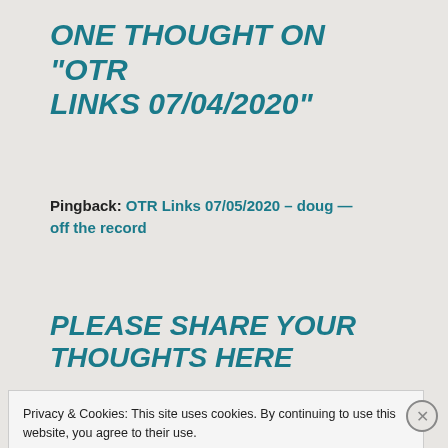ONE THOUGHT ON "OTR LINKS 07/04/2020"
Pingback: OTR Links 07/05/2020 – doug — off the record
PLEASE SHARE YOUR THOUGHTS HERE
Privacy & Cookies: This site uses cookies. By continuing to use this website, you agree to their use.
To find out more, including how to control cookies, see here: Cookie Policy
Close and accept